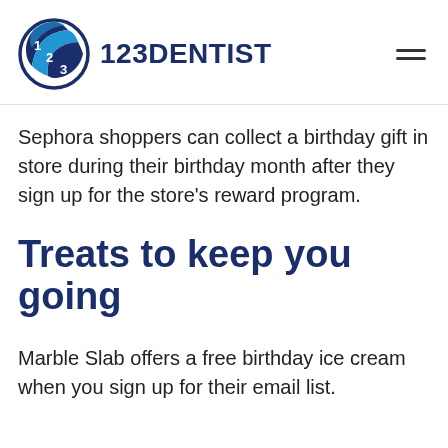123DENTIST
Sephora shoppers can collect a birthday gift in store during their birthday month after they sign up for the store's reward program.
Treats to keep you going
Marble Slab offers a free birthday ice cream when you sign up for their email list.